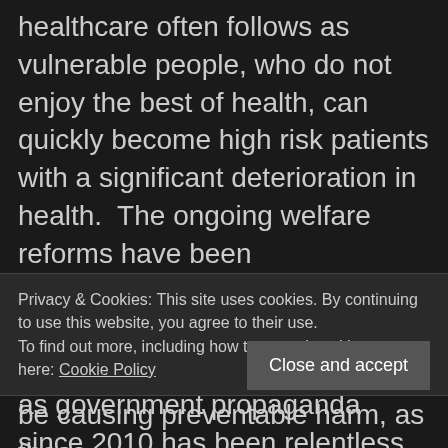healthcare often follows as vulnerable people, who do not enjoy the best of health, can quickly become high risk patients with a significant deterioration in health.  The ongoing welfare reforms have been demonstrated to be a political choice not a political necessity,
as government propaganda since 2010 has been relentless when attacking those  who
Privacy & Cookies: This site uses cookies. By continuing to use this website, you agree to their use.
To find out more, including how to control cookies, see here: Cookie Policy
Close and accept
be causing preventable harm, as those